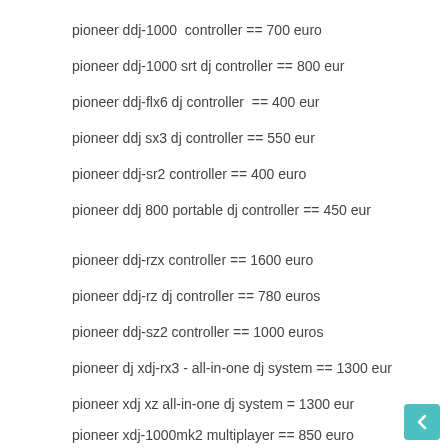pioneer ddj-1000  controller == 700 euro
pioneer ddj-1000 srt dj controller == 800 eur
pioneer ddj-flx6 dj controller  == 400 eur
pioneer ddj sx3 dj controller == 550 eur
pioneer ddj-sr2 controller == 400 euro
pioneer ddj 800 portable dj controller == 450 eur
pioneer ddj-rzx controller == 1600 euro
pioneer ddj-rz dj controller == 780 euros
pioneer ddj-sz2 controller == 1000 euros
pioneer dj xdj-rx3 - all-in-one dj system == 1300 eur
pioneer xdj xz all-in-one dj system = 1300 eur
pioneer xdj-1000mk2 multiplayer == 850 euro